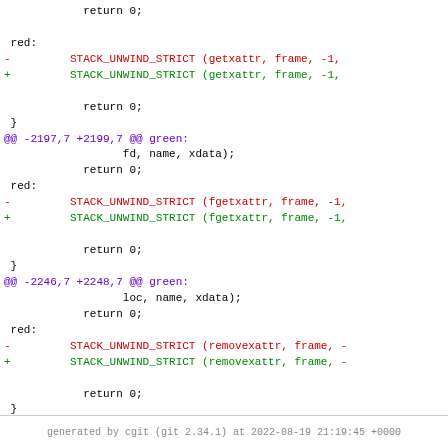Diff/patch code snippet showing STACK_UNWIND_STRICT changes for getxattr, fgetxattr, and removexattr
generated by cgit (git 2.34.1) at 2022-08-19 21:19:45 +0000